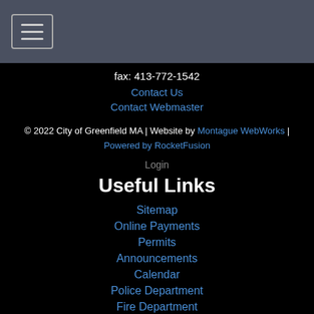[Figure (other): Navigation header bar with hamburger menu icon (three horizontal lines) on a dark gray background]
fax: 413-772-1542
Contact Us
Contact Webmaster
© 2022 City of Greenfield MA | Website by Montague WebWorks | Powered by RocketFusion
Login
Useful Links
Sitemap
Online Payments
Permits
Announcements
Calendar
Police Department
Fire Department
Other Resources